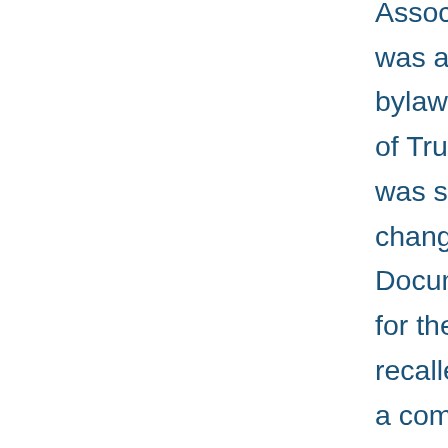Association Constitution was approved, but the bylaws required Board of Trustees' approval. It was said that the changes on the Tenure Document weren't ready for the meeting. It was recalled that there was a committee formed to review the R220 Policy. Efforts to improve communication with Faculty from President Budd